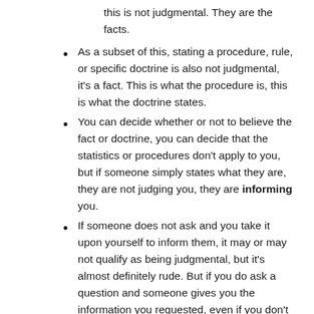this is not judgmental.  They are the facts.
As a subset of this, stating a procedure, rule, or specific doctrine is also not judgmental, it's a fact.  This is what the procedure is, this is what the doctrine states.
You can decide whether or not to believe the fact or doctrine, you can decide that the statistics or procedures don't apply to you, but if someone simply states what they are, they are not judging you, they are informing you.
If someone does not ask and you take it upon yourself to inform them, it may or may not qualify as being judgmental, but it's almost definitely rude.  But if you do ask a question and someone gives you the information you requested, even if you don't like it, it's not